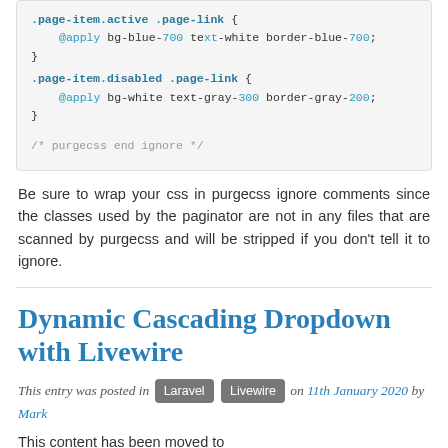[Figure (screenshot): Code block showing CSS with .page-item.active .page-link and .page-item.disabled .page-link rules using @apply directives, followed by a purgecss end ignore comment]
Be sure to wrap your css in purgecss ignore comments since the classes used by the paginator are not in any files that are scanned by purgecss and will be stripped if you don't tell it to ignore.
Dynamic Cascading Dropdown with Livewire
This entry was posted in Laravel Livewire on 11th January 2020 by Mark
This content has been moved to
https://talltips.novate.co.uk/livewire/dynamic-cascading-dropdown...